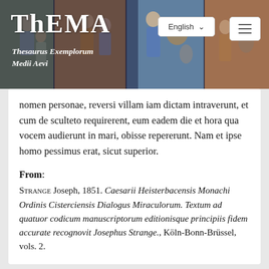ThEMA — Thesaurus Exemplorum Medii Aevi
nomen personae, reversi villam iam dictam intraverunt, et cum de sculteto requirerent, eum eadem die et hora qua vocem audierunt in mari, obisse repererunt. Nam et ipse homo pessimus erat, sicut superior.
From: STRANGE Joseph, 1851. Caesarii Heisterbacensis Monachi Ordinis Cisterciensis Dialogus Miraculorum. Textum ad quatuor codicum manuscriptorum editionisque principiis fidem accurate recognovit Josephus Strange., Köln-Bonn-Brüssel, vols. 2.
View in edition